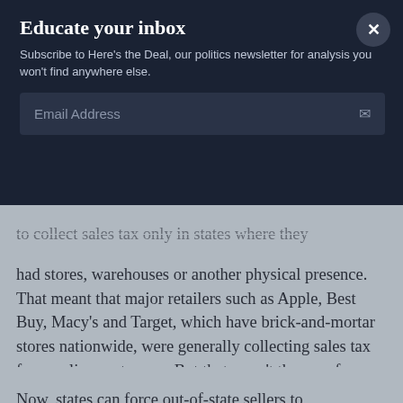Educate your inbox
Subscribe to Here's the Deal, our politics newsletter for analysis you won't find anywhere else.
Email Address
to collect sales tax only in states where they had stores, warehouses or another physical presence. That meant that major retailers such as Apple, Best Buy, Macy's and Target, which have brick-and-mortar stores nationwide, were generally collecting sales tax from online customers. But that wasn't the case for businesses with a big online presence but few physical locations.
Now, states can force out-of-state sellers to